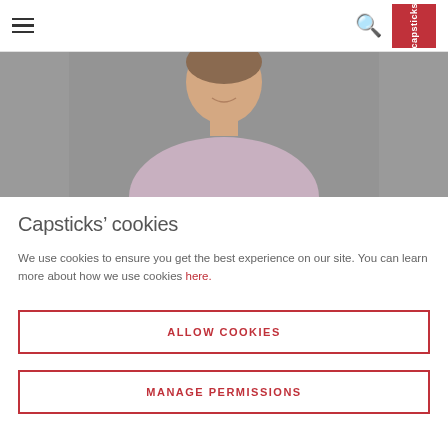Capsticks navigation header with hamburger menu, search icon, and logo
[Figure (photo): Professional headshot of a smiling man in a light purple/lavender shirt against a grey background, cropped to show face and upper torso.]
Capsticks' cookies
We use cookies to ensure you get the best experience on our site. You can learn more about how we use cookies here.
ALLOW COOKIES
MANAGE PERMISSIONS